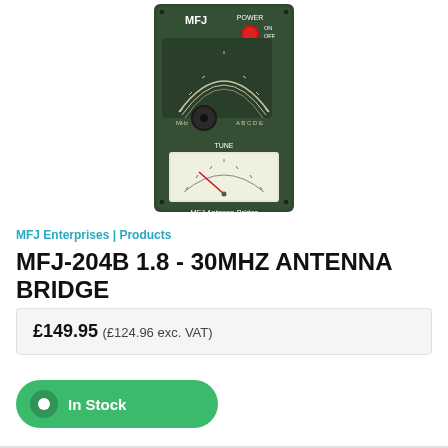[Figure (photo): MFJ Antenna Bridge Model MFJ-204B device photo — dark green rectangular enclosure with analog meter, tune knob, frequency scale, and red power button on/off switch, labeled 'MFJ Antenna Bridge MODEL MFJ-204B']
MFJ Enterprises | Products
MFJ-204B 1.8 - 30MHZ ANTENNA BRIDGE
£149.95 (£124.96 exc. VAT)
In Stock